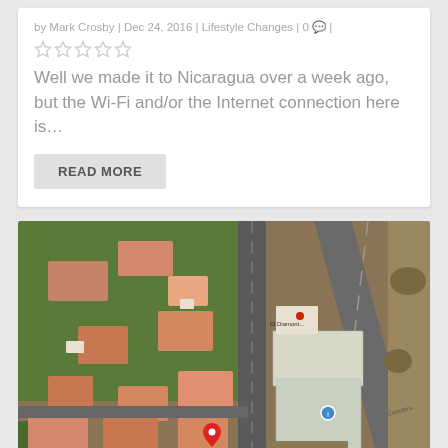by Mark Crosby | Dec 24, 2016 | Lifestyle Changes | 0 |
[Figure (other): Five star rating icons (empty/grey stars)]
Well we made it to Nicaragua over a week ago, but the Wi-Fi and/or the Internet connection here is…
READ MORE
[Figure (map): Aerial/satellite map view of a neighborhood in Nicaragua with roads, buildings, trees, and a red location pin marker]